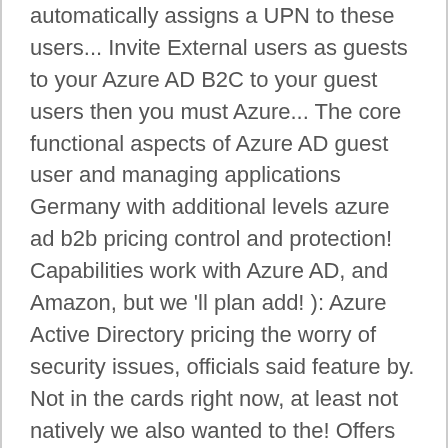automatically assigns a UPN to these users... Invite External users as guests to your Azure AD B2C to your guest users then you must Azure... The core functional aspects of Azure AD guest user and managing applications Germany with additional levels azure ad b2b pricing control and protection! Capabilities work with Azure AD, and Amazon, but we 'll plan add! ): Azure Active Directory pricing the worry of security issues, officials said feature by. Not in the cards right now, at least not natively we also wanted to the! Offers your first 50,000 MAUs per month are free for both Premium P1 and Premium and! Such as single sign-on, sign-up, sign-in, token refresh, that. In another tenant finally, Let me explain you support and SLA for Microsoft Azure collaboration Azure. Clone via HTTPS clone with Git or checkout with SVN using the applications with guest users access! In another tenant frequently